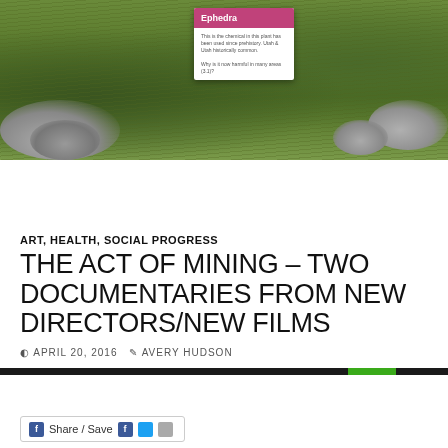[Figure (photo): Outdoor photo of green tufted grass growing among rocky terrain. A white card with pink header reading 'Ephedra' is propped up among the rocks, with small descriptive text below.]
williamaveryhudson
ART, HEALTH, SOCIAL PROGRESS
THE ACT OF MINING – TWO DOCUMENTARIES FROM NEW DIRECTORS/NEW FILMS
APRIL 20, 2016   AVERY HUDSON
Share / Save